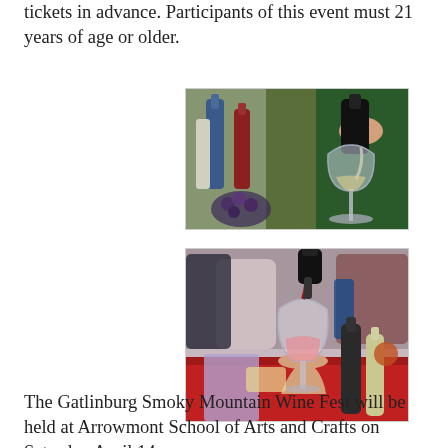tickets in advance. Participants of this event must 21 years of age or older.
[Figure (photo): A hand pouring wine from a dark bottle into a wine glass at a wine tasting event, with bottles and food visible in the blurred background.]
[Figure (photo): A hand holding a wine glass being filled with red wine at a crowded wine tasting event, with bottles and people visible in the background.]
The Gatlinburg Smoky Mountain Wine Fest will be held at Arrowmont School of Arts and Crafts on Saturday April 14,